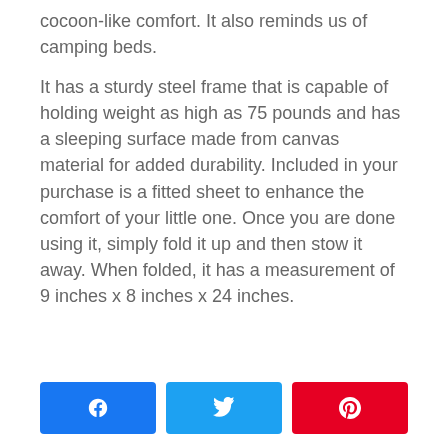cocoon-like comfort. It also reminds us of camping beds.
It has a sturdy steel frame that is capable of holding weight as high as 75 pounds and has a sleeping surface made from canvas material for added durability. Included in your purchase is a fitted sheet to enhance the comfort of your little one. Once you are done using it, simply fold it up and then stow it away. When folded, it has a measurement of 9 inches x 8 inches x 24 inches.
[Figure (infographic): Three social share buttons: Facebook (blue), Twitter (light blue), Pinterest (red)]